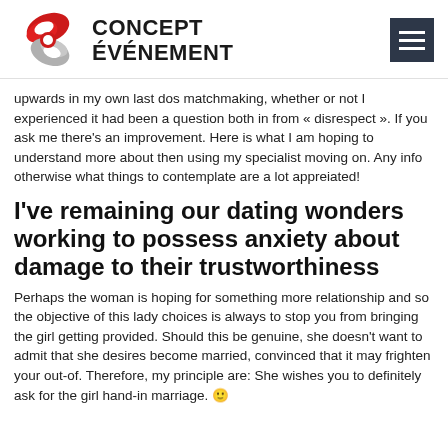CONCEPT ÉVÉNEMENT
upwards in my own last dos matchmaking, whether or not I experienced it had been a question both in from « disrespect ». If you ask me there's an improvement. Here is what I am hoping to understand more about then using my specialist moving on. Any info otherwise what things to contemplate are a lot appreiated!
I've remaining our dating wonders working to possess anxiety about damage to their trustworthiness
Perhaps the woman is hoping for something more relationship and so the objective of this lady choices is always to stop you from bringing the girl getting provided. Should this be genuine, she doesn't want to admit that she desires become married, convinced that it may frighten your out-of. Therefore, my principle are: She wishes you to definitely ask for the girl hand-in marriage. 🙂